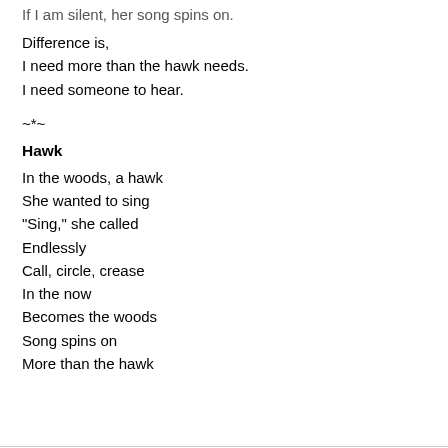If I am silent, her song spins on.
Difference is,
I need more than the hawk needs.
I need someone to hear.
~*~
Hawk
In the woods, a hawk
She wanted to sing
"Sing," she called
Endlessly
Call, circle, crease
In the now
Becomes the woods
Song spins on
More than the hawk